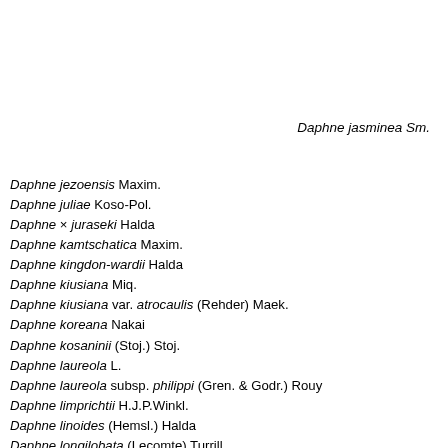Daphne jasminea Sm.
Daphne jezoensis Maxim.
Daphne juliae Koso-Pol.
Daphne × juraseki Halda
Daphne kamtschatica Maxim.
Daphne kingdon-wardii Halda
Daphne kiusiana Miq.
Daphne kiusiana var. atrocaulis (Rehder) Maek.
Daphne koreana Nakai
Daphne kosaninii (Stoj.) Stoj.
Daphne laureola L.
Daphne laureola subsp. philippi (Gren. & Godr.) Rouy
Daphne limprichtii H.J.P.Winkl.
Daphne linoides (Hemsl.) Halda
Daphne longilobata (Lecomte) Turrill
Daphne longilobata subsp. purpurascens (S.C.Huang) Halda